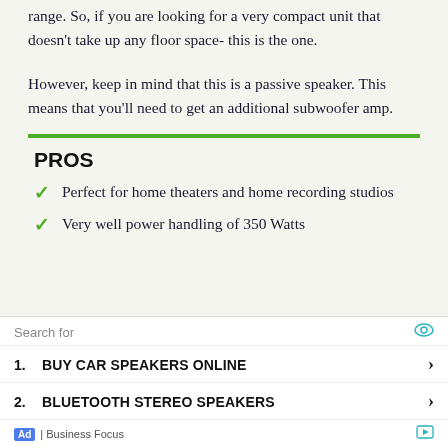range. So, if you are looking for a very compact unit that doesn't take up any floor space- this is the one.
However, keep in mind that this is a passive speaker. This means that you'll need to get an additional subwoofer amp.
PROS
Perfect for home theaters and home recording studios
Very well power handling of 350 Watts
Search for
1. BUY CAR SPEAKERS ONLINE
2. BLUETOOTH STEREO SPEAKERS
Ad | Business Focus